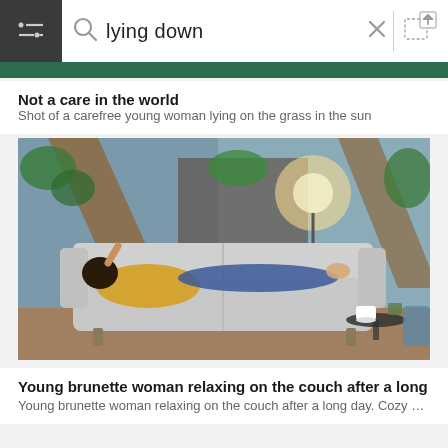[Figure (screenshot): Search bar UI with filter/hamburger icon on left, search icon, text 'lying down', close X button, divider, and upload image icon on right. Dark grey background with white input area.]
Not a care in the world
Shot of a carefree young woman lying on the grass in the sun
[Figure (photo): Young brunette woman in yellow top and blue jeans lying/relaxing on a grey sofa/couch in a cozy room decorated with plants, wooden beams, shelves, and a warm lamp. A small round table with a coffee cup is beside the couch.]
Young brunette woman relaxing on the couch after a long …
Young brunette woman relaxing on the couch after a long day. Cozy …